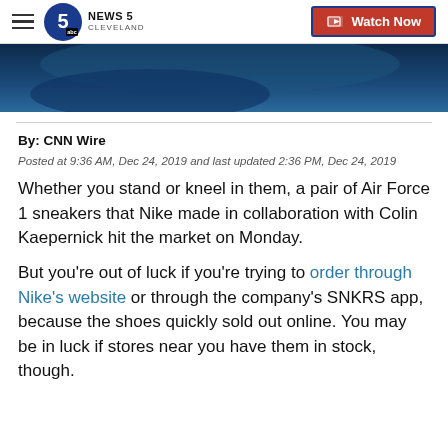NEWS 5 CLEVELAND | Watch Now
[Figure (photo): Dark blue-toned hero image, partial view of a shoe or athletic product]
By: CNN Wire
Posted at 9:36 AM, Dec 24, 2019 and last updated 2:36 PM, Dec 24, 2019
Whether you stand or kneel in them, a pair of Air Force 1 sneakers that Nike made in collaboration with Colin Kaepernick hit the market on Monday.
But you're out of luck if you're trying to order through Nike's website or through the company's SNKRS app, because the shoes quickly sold out online. You may be in luck if stores near you have them in stock, though.